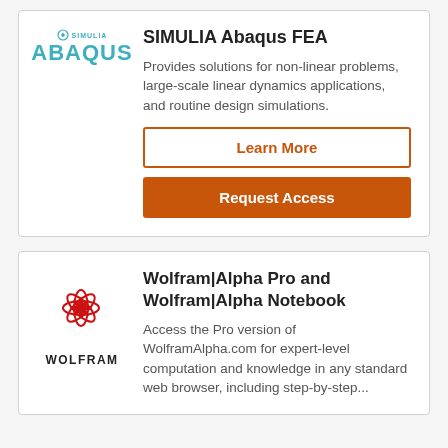[Figure (logo): SIMULIA Abaqus logo with teal text]
SIMULIA Abaqus FEA
Provides solutions for non-linear problems, large-scale linear dynamics applications, and routine design simulations.
Learn More
Request Access
[Figure (logo): Wolfram red snowflake logo with WOLFRAM text below]
Wolfram|Alpha Pro and Wolfram|Alpha Notebook
Access the Pro version of WolframAlpha.com for expert-level computation and knowledge in any standard web browser, including step-by-step...